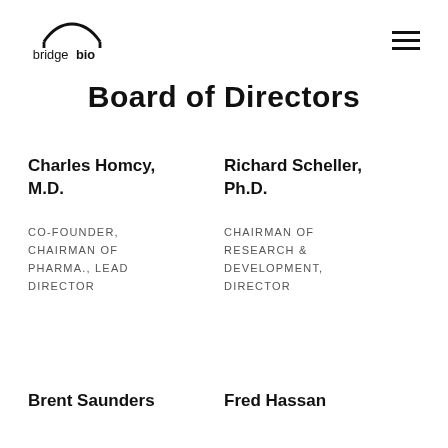[Figure (logo): BridgeBio logo with arch/bridge icon above text 'bridgebio']
Board of Directors
Charles Homcy, M.D.
CO-FOUNDER, CHAIRMAN OF PHARMA., LEAD DIRECTOR
Richard Scheller, Ph.D.
CHAIRMAN OF RESEARCH & DEVELOPMENT, DIRECTOR
Brent Saunders
Fred Hassan